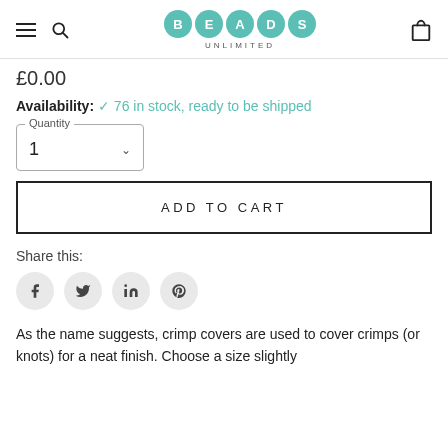BEADS UNLIMITED
£0.00
Availability: ✓ 76 in stock, ready to be shipped
Quantity: 1
ADD TO CART
Share this:
[Figure (other): Social share icons: Facebook, Twitter, LinkedIn, Pinterest]
As the name suggests, crimp covers are used to cover crimps (or knots) for a neat finish. Choose a size slightly